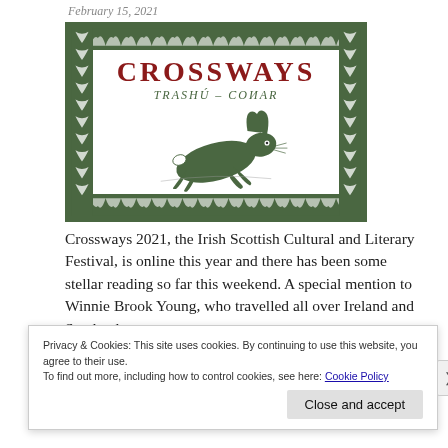February 15, 2021
[Figure (illustration): Crossways festival logo: decorative dark green border with leaf/tree motifs on all four sides, title 'CROSSWAYS' in large bold dark red serif letters, subtitle 'TRASHU - CONAR' in smaller italic green letters, and a dark green leaping hare illustration in the center-lower area of the box.]
Crossways 2021, the Irish Scottish Cultural and Literary Festival, is online this year and there has been some stellar reading so far this weekend. A special mention to Winnie Brook Young, who travelled all over Ireland and Scotland
Privacy & Cookies: This site uses cookies. By continuing to use this website, you agree to their use.
To find out more, including how to control cookies, see here: Cookie Policy
Close and accept